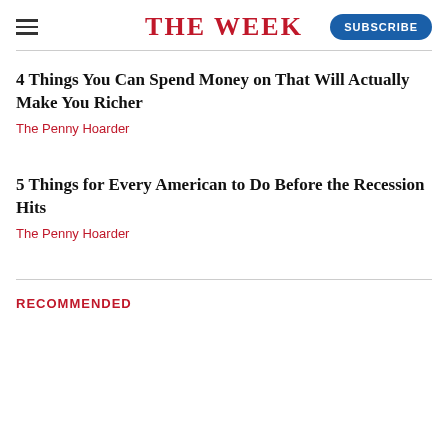THE WEEK
4 Things You Can Spend Money on That Will Actually Make You Richer
The Penny Hoarder
5 Things for Every American to Do Before the Recession Hits
The Penny Hoarder
RECOMMENDED